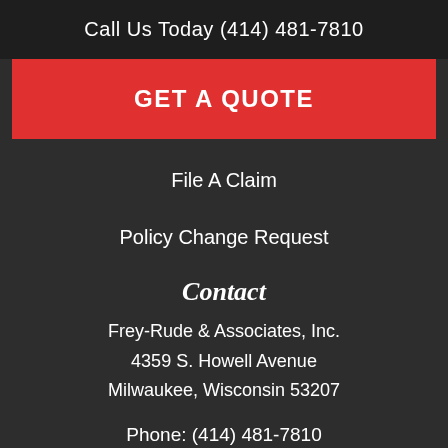Call Us Today (414) 481-7810
GET A QUOTE
File A Claim
Policy Change Request
Contact
Frey-Rude & Associates, Inc.
4359 S. Howell Avenue
Milwaukee, Wisconsin 53207
Phone: (414) 481-7810